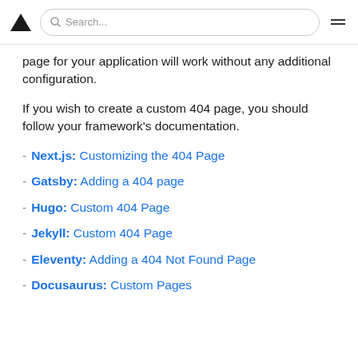▲ Search... ≡
page for your application will work without any additional configuration.
If you wish to create a custom 404 page, you should follow your framework's documentation.
- Next.js: Customizing the 404 Page
- Gatsby: Adding a 404 page
- Hugo: Custom 404 Page
- Jekyll: Custom 404 Page
- Eleventy: Adding a 404 Not Found Page
- Docusaurus: Custom Pages